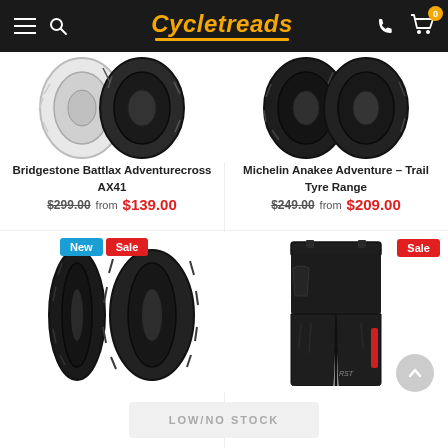Cycletreads
[Figure (photo): Bridgestone Battlax Adventurecross AX41 tyre product image, two tyres shown]
Bridgestone Battlax Adventurecross AX41
$299.00 from $139.00
[Figure (photo): Michelin Anakee Adventure – Trail Tyre Range product image, two tyres shown]
Michelin Anakee Adventure – Trail Tyre Range
$249.00 from $209.00
[Figure (photo): Two motorcycle road tyres shown side by side with New and Sale badges]
[Figure (photo): Black motorcycle riding pants shown with Sale badge]
LOW/NO STOCK